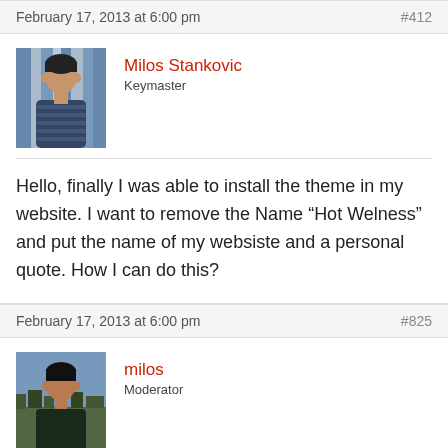February 17, 2013 at 6:00 pm   #412
[Figure (photo): Avatar photo of Milos Stankovic, a man with short dark hair wearing a striped shirt]
Milos Stankovic
Keymaster
Hello, finally I was able to install the theme in my website. I want to remove the Name “Hot Welness” and put the name of my websiste and a personal quote. How I can do this?
February 17, 2013 at 6:00 pm   #825
[Figure (photo): Avatar photo of milos, a man outdoors with a town visible in the background]
milos
Moderator
Hello,